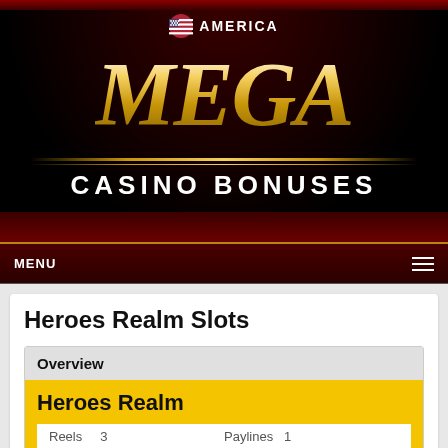[Figure (logo): Mega Casino Bonuses logo with AMERICA flag, gold MEGA text, and CASINO BONUSES subtitle on dark red/black background]
MENU
Heroes Realm Slots
Overview
Heroes Realm
Reels   3   Paylines   1